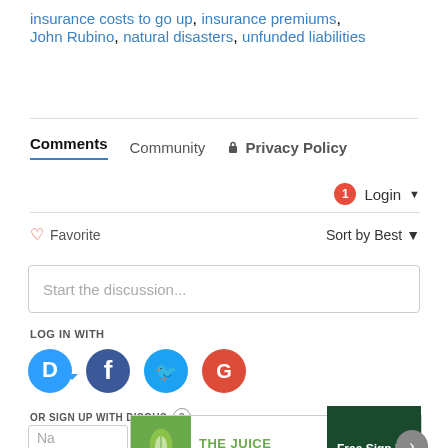insurance costs to go up, insurance premiums, John Rubino, natural disasters, unfunded liabilities
Comments   Community   🔒 Privacy Policy
Login ▼
♡ Favorite   Sort by Best ▼
Start the discussion...
LOG IN WITH
OR SIGN UP WITH DISOUS ?
Na
[Figure (screenshot): THE JUICE NEWSLETTER advertisement banner with Free Sign Up button]